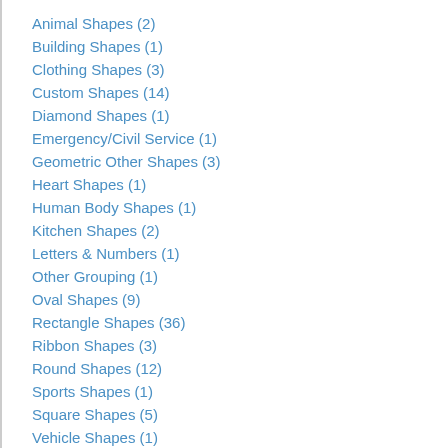Animal Shapes (2)
Building Shapes (1)
Clothing Shapes (3)
Custom Shapes (14)
Diamond Shapes (1)
Emergency/Civil Service (1)
Geometric Other Shapes (3)
Heart Shapes (1)
Human Body Shapes (1)
Kitchen Shapes (2)
Letters & Numbers (1)
Other Grouping (1)
Oval Shapes (9)
Rectangle Shapes (36)
Ribbon Shapes (3)
Round Shapes (12)
Sports Shapes (1)
Square Shapes (5)
Vehicle Shapes (1)